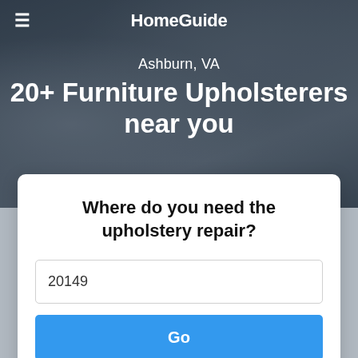HomeGuide
Ashburn, VA
20+ Furniture Upholsterers near you
Where do you need the upholstery repair?
20149
Go